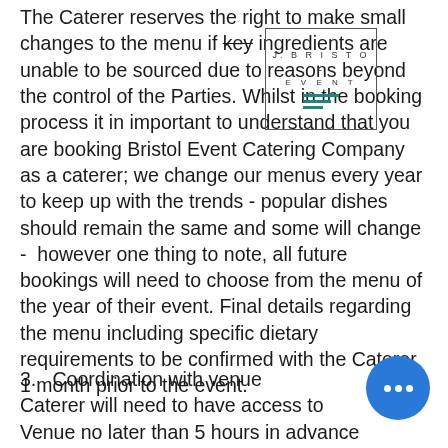The Caterer reserves the right to make small changes to the menu if key ingredients are unable to be sourced due to reasons beyond the control of the Parties. Whilst in the booking process it in important to understand that you are booking Bristol Event Catering Company as a caterer; we change our menus every year to keep up with the trends - popular dishes should remain the same and some will change -  however one thing to note, all future bookings will need to choose from the menu of the year of their event. Final details regarding the menu including specific dietary requirements to be confirmed with the Caterer 1 month prior to the event.
[Figure (logo): Bristol Event Catering Company logo — rectangular border containing text 'J. BRISTOL EVENT' and three horizontal teal-coloured lines of decreasing width]
3.   Coordination with venue Caterer will need to have access to Venue no later than 5 hours in advance